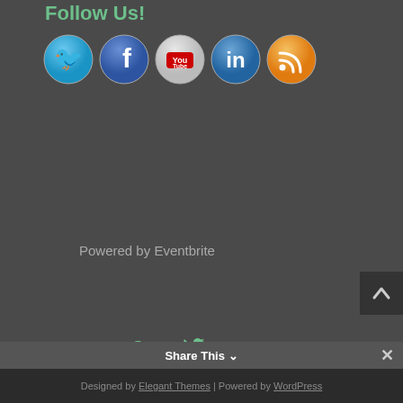Follow Us!
[Figure (illustration): Row of 5 social media icon circles: Twitter (blue bird), Facebook (blue f), YouTube (red play button), LinkedIn (blue in), RSS feed (orange)]
Powered by Eventbrite
[Figure (illustration): Scroll-to-top button with upward chevron arrow on dark background]
[Figure (illustration): Bottom social icons: Facebook (f), Twitter (bird), RSS feed]
Designed by Elegant Themes | Powered by WordPress
Share This ∨